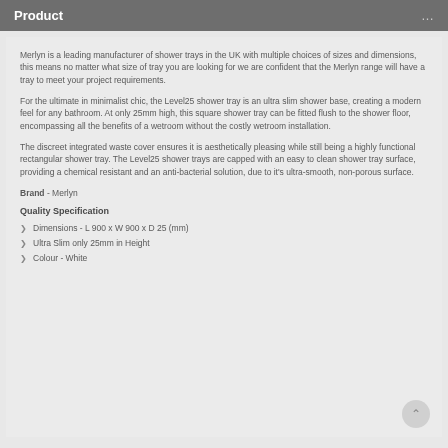Product
Merlyn is a leading manufacturer of shower trays in the UK with multiple choices of sizes and dimensions, this means no matter what size of tray you are looking for we are confident that the Merlyn range will have a tray to meet your project requirements.
For the ultimate in minimalist chic, the Level25 shower tray is an ultra slim shower base, creating a modern feel for any bathroom. At only 25mm high, this square shower tray can be fitted flush to the shower floor, encompassing all the benefits of a wetroom without the costly wetroom installation.
The discreet integrated waste cover ensures it is aesthetically pleasing while still being a highly functional rectangular shower tray. The Level25 shower trays are capped with an easy to clean shower tray surface, providing a chemical resistant and an anti-bacterial solution, due to it's ultra-smooth, non-porous surface.
Brand - Merlyn
Quality Specification
Dimensions - L 900 x W 900 x D 25 (mm)
Ultra Slim only 25mm in Height
Colour - White